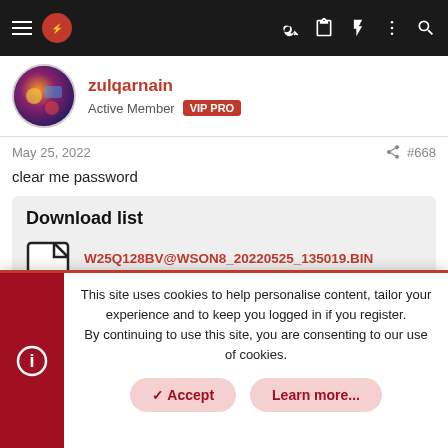Navigation bar with hamburger menu, site logo, and icons: key, clipboard, lightning, more, search
zulqarnain
Active Member VIP PRO
May 25, 2022  #668
clear me password
Download list
W25Q128BV@WSON8_20220525_135019.BIN
16 MB · Views: 1
This site uses cookies to help personalise content, tailor your experience and to keep you logged in if you register.
By continuing to use this site, you are consenting to our use of cookies.
✓ Accept  Learn more...